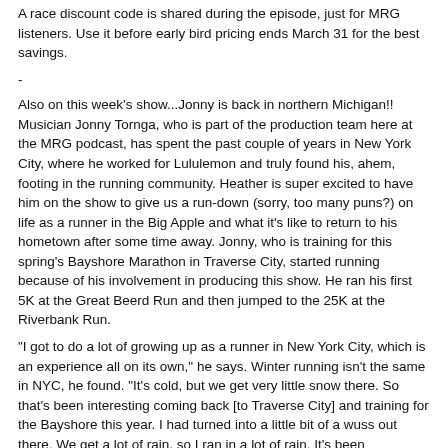A race discount code is shared during the episode, just for MRG listeners. Use it before early bird pricing ends March 31 for the best savings.
-
Also on this week's show...Jonny is back in northern Michigan!! Musician Jonny Tornga, who is part of the production team here at the MRG podcast, has spent the past couple of years in New York City, where he worked for Lululemon and truly found his, ahem, footing in the running community. Heather is super excited to have him on the show to give us a run-down (sorry, too many puns?) on life as a runner in the Big Apple and what it's like to return to his hometown after some time away. Jonny, who is training for this spring's Bayshore Marathon in Traverse City, started running because of his involvement in producing this show. He ran his first 5K at the Great Beerd Run and then jumped to the 25K at the Riverbank Run.
"I got to do a lot of growing up as a runner in New York City, which is an experience all on its own," he says. Winter running isn't the same in NYC, he found. "It's cold, but we get very little snow there. So that's been interesting coming back [to Traverse City] and training for the Bayshore this year. I had turned into a little bit of a wuss out there. We get a lot of rain, so I ran in a lot of rain. It's been interesting...and dealing with cars. In New York City, it's normal to run in the streets and you come here and it's a little bit frowned upon sometimes to run in the streets. So that's been another interesting thing."
Jonny is training for his second marathon, this spring's Bayshore Marathon. "It's a longer distance for me, but I'm excited to dig into it."